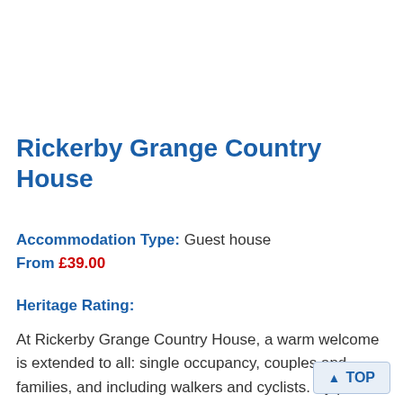Rickerby Grange Country House
Accommodation Type: Guest house
From £39.00
Heritage Rating:
At Rickerby Grange Country House, a warm welcome is extended to all: single occupancy, couples and families, and including walkers and cyclists. By prior arrangement, even the family dog...